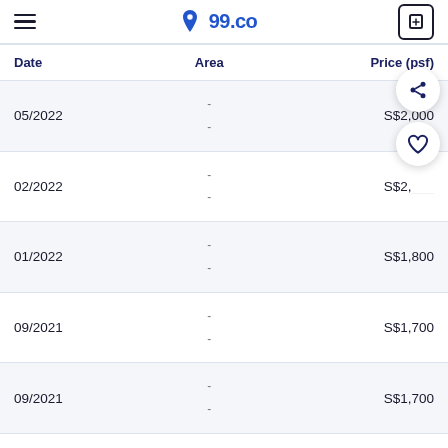99.co
| Date | Area | Price (psf) |
| --- | --- | --- |
| 05/2022 | -
- | S$2,000 |
| 02/2022 | -
- | S$2,___ |
| 01/2022 | -
- | S$1,800 |
| 09/2021 | -
- | S$1,700 |
| 09/2021 | -
- | S$1,700 |
This listing is no longer available